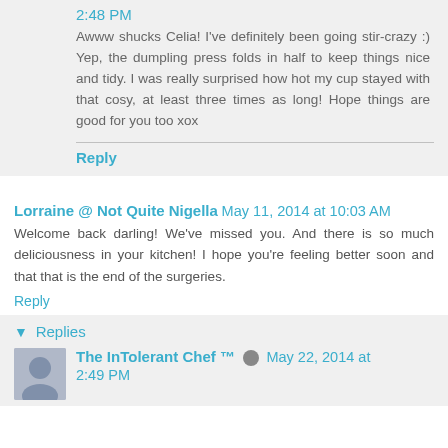2:48 PM
Awww shucks Celia! I've definitely been going stir-crazy :) Yep, the dumpling press folds in half to keep things nice and tidy. I was really surprised how hot my cup stayed with that cosy, at least three times as long! Hope things are good for you too xox
Reply
Lorraine @ Not Quite Nigella  May 11, 2014 at 10:03 AM
Welcome back darling! We've missed you. And there is so much deliciousness in your kitchen! I hope you're feeling better soon and that that is the end of the surgeries.
Reply
▾ Replies
The InTolerant Chef ™  May 22, 2014 at 2:49 PM